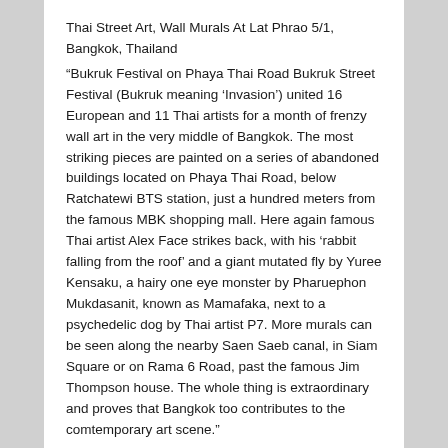Thai Street Art, Wall Murals At Lat Phrao 5/1, Bangkok, Thailand
“Bukruk Festival on Phaya Thai Road Bukruk Street Festival (Bukruk meaning ‘Invasion’) united 16 European and 11 Thai artists for a month of frenzy wall art in the very middle of Bangkok. The most striking pieces are painted on a series of abandoned buildings located on Phaya Thai Road, below Ratchatewi BTS station, just a hundred meters from the famous MBK shopping mall. Here again famous Thai artist Alex Face strikes back, with his ‘rabbit falling from the roof’ and a giant mutated fly by Yuree Kensaku, a hairy one eye monster by Pharuephon Mukdasanit, known as Mamafaka, next to a psychedelic dog by Thai artist P7. More murals can be seen along the nearby Saen Saeb canal, in Siam Square or on Rama 6 Road, past the famous Jim Thompson house. The whole thing is extraordinary and proves that Bangkok too contributes to the comtemporary art scene.”
Above comments are from “Bangkok Street Art” website